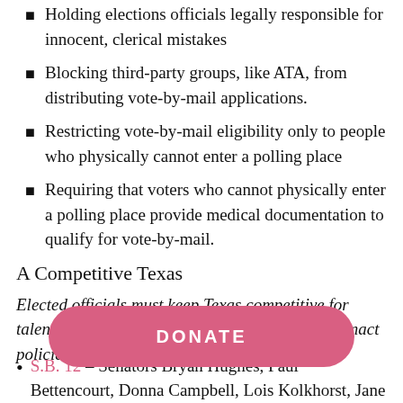Holding elections officials legally responsible for innocent, clerical mistakes
Blocking third-party groups, like ATA, from distributing vote-by-mail applications.
Restricting vote-by-mail eligibility only to people who physically cannot enter a polling place
Requiring that voters who cannot physically enter a polling place provide medical documentation to qualify for vote-by-mail.
A Competitive Texas
Elected officials must keep Texas competitive for talent and businesses, which means Texas must enact policies as po...
[Figure (other): DONATE button overlay, pink/rose rounded rectangle with white bold text reading DONATE]
S.B. 12 – Senators Bryan Hughes, Paul Bettencourt, Donna Campbell, Lois Kolkhorst, Jane Nelson, Charles...